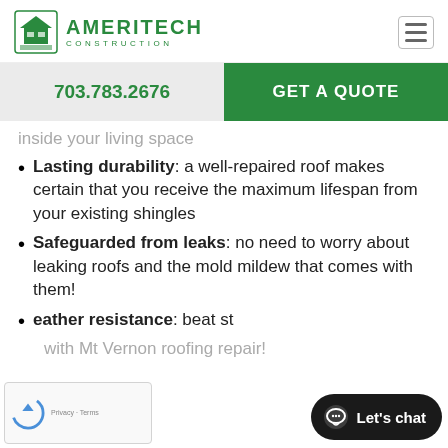AMERITECH CONSTRUCTION
703.783.2676
GET A QUOTE
inside your living space
Lasting durability: a well-repaired roof makes certain that you receive the maximum lifespan from your existing shingles
Safeguarded from leaks: no need to worry about leaking roofs and the mold mildew that comes with them!
eather resistance: beat st with Mt Vernon roofing repair!